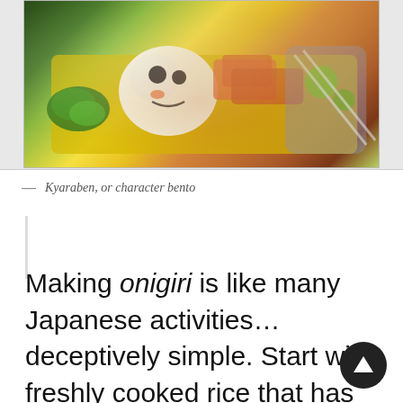[Figure (photo): Photo of kyaraben (character bento) — decorated bento box with food arranged to look like cartoon characters, with green vegetables, yellow rice shapes, and colorful garnishes]
— Kyaraben, or character bento
Making onigiri is like many Japanese activities… deceptively simple. Start with freshly cooked rice that has cooled to the point where it can be handled, not gotten cold. Moisten hands with water and rub a pinch of salt